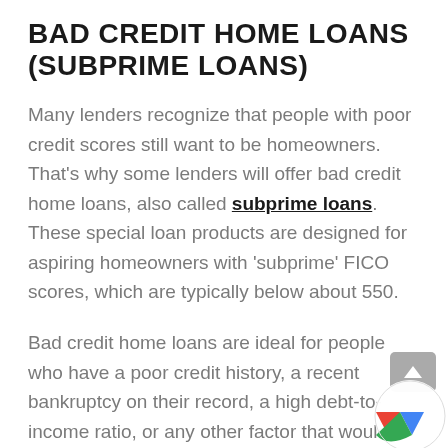BAD CREDIT HOME LOANS (SUBPRIME LOANS)
Many lenders recognize that people with poor credit scores still want to be homeowners. That's why some lenders will offer bad credit home loans, also called subprime loans. These special loan products are designed for aspiring homeowners with 'subprime' FICO scores, which are typically below about 550.
Bad credit home loans are ideal for people who have a poor credit history, a recent bankruptcy on their record, a high debt-to-income ratio, or any other factor that would bring their score do[wn].
These types of loans may be associated with